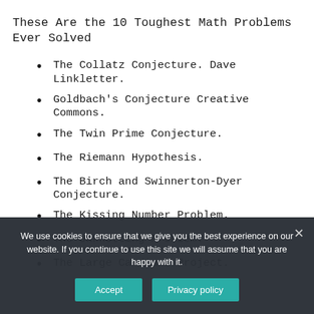These Are the 10 Toughest Math Problems Ever Solved
The Collatz Conjecture. Dave Linkletter.
Goldbach's Conjecture Creative Commons.
The Twin Prime Conjecture.
The Riemann Hypothesis.
The Birch and Swinnerton-Dyer Conjecture.
The Kissing Number Problem.
The Unknotting Problem.
The Large Cardinal Project.
We use cookies to ensure that we give you the best experience on our website. If you continue to use this site we will assume that you are happy with it.